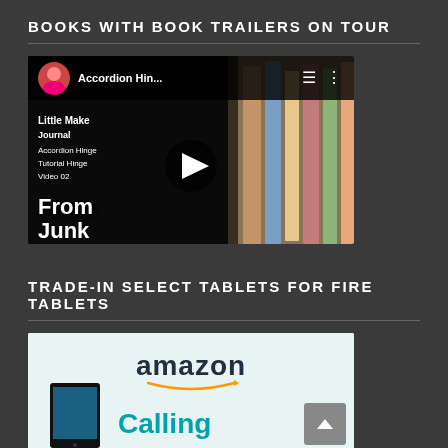BOOKS WITH BOOK TRAILERS ON TOUR
[Figure (screenshot): YouTube video player showing 'Accordion Hin...' video with 'From Junk' text overlay and play button]
TRADE-IN SELECT TABLETS FOR FIRE TABLETS
[Figure (screenshot): Amazon advertisement showing amazon logo with smile and 'Calling' text in teal with tablet image]